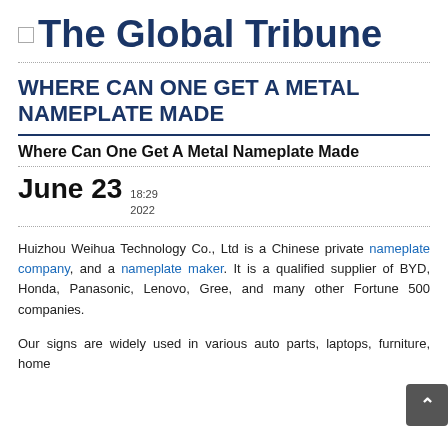The Global Tribune
WHERE CAN ONE GET A METAL NAMEPLATE MADE
Where Can One Get A Metal Nameplate Made
June 23  18:29 2022
Huizhou Weihua Technology Co., Ltd is a Chinese private nameplate company, and a nameplate maker. It is a qualified supplier of BYD, Honda, Panasonic, Lenovo, Gree, and many other Fortune 500 companies.
Our signs are widely used in various auto parts, laptops, furniture, home